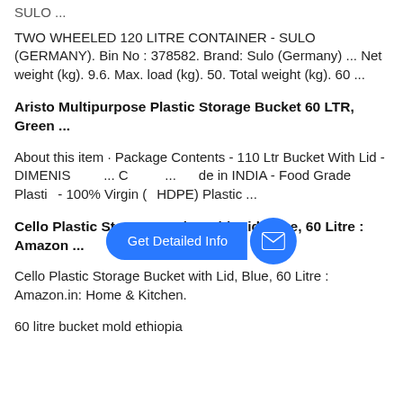SULO ...
TWO WHEELED 120 LITRE CONTAINER - SULO (GERMANY). Bin No : 378582. Brand: Sulo (Germany) ... Net weight (kg). 9.6. Max. load (kg). 50. Total weight (kg). 60 ...
Aristo Multipurpose Plastic Storage Bucket 60 LTR, Green ...
About this item · Package Contents - 110 Ltr Bucket With Lid - DIMENIS... C... de in INDIA - Food Grade Plastic - 100% Virgin (HDPE) Plastic ...
Cello Plastic Storage Bucket with Lid, Blue, 60 Litre : Amazon ...
Cello Plastic Storage Bucket with Lid, Blue, 60 Litre : Amazon.in: Home & Kitchen.
60 litre bucket mold ethiopia